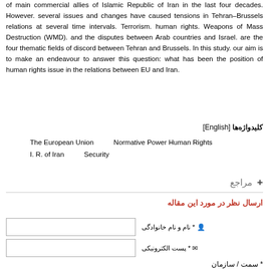of main commercial allies of Islamic Republic of Iran in the last four decades. However. several issues and changes have caused tensions in Tehran–Brussels relations at several time intervals. Terrorism. human rights. Weapons of Mass Destruction (WMD). and the disputes between Arab countries and Israel. are the four thematic fields of discord between Tehran and Brussels. In this study. our aim is to make an endeavour to answer this question: what has been the position of human rights issue in the relations between EU and Iran.
کلیدواژه‌ها [English]
The European Union    Normative Power    Human Rights
I. R. of Iran    Security
+ مراجع
ارسال نظر در مورد این مقاله
نام و نام خانوادگی *
پست الکترونیکی *
سمت / سازمان *